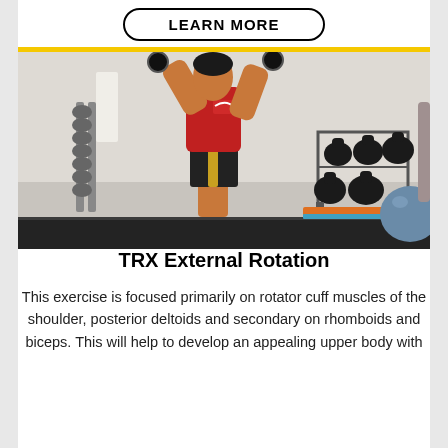LEARN MORE
[Figure (photo): A person wearing a red Nike tank top and black shorts performing TRX external rotation exercise in a gym, holding TRX handles with arms raised. Background shows a dumbbell rack on the left and kettlebell rack on the right, with a blue exercise ball.]
TRX External Rotation
This exercise is focused primarily on rotator cuff muscles of the shoulder, posterior deltoids and secondary on rhomboids and biceps. This will help to develop an appealing upper body with